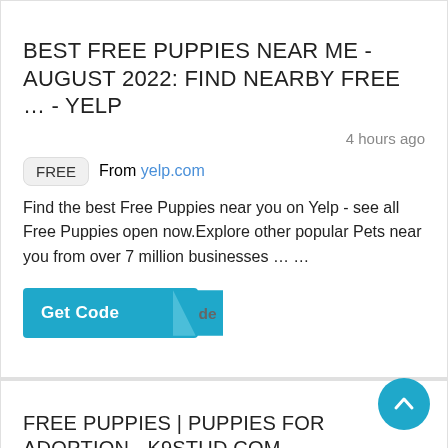BEST FREE PUPPIES NEAR ME - AUGUST 2022: FIND NEARBY FREE … - YELP
4 hours ago
FREE  From yelp.com
Find the best Free Puppies near you on Yelp - see all Free Puppies open now.Explore other popular Pets near you from over 7 million businesses … …
Get Code  de
FREE PUPPIES | PUPPIES FOR ADOPTION - K9STUD.COM
4 hours a
FREE  From k9stud.com